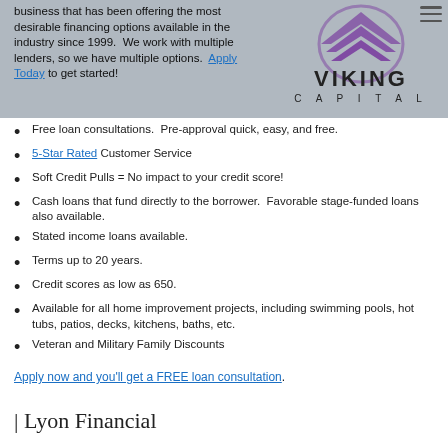business that has been offering the most desirable financing options available in the industry since 1999. We work with multiple lenders, so we have multiple options. Apply Today to get started!
[Figure (logo): Viking Capital logo with purple chevron/mountain icon and stylized text VIKING CAPITAL]
Free loan consultations. Pre-approval quick, easy, and free.
5-Star Rated Customer Service
Soft Credit Pulls = No impact to your credit score!
Cash loans that fund directly to the borrower. Favorable stage-funded loans also available.
Stated income loans available.
Terms up to 20 years.
Credit scores as low as 650.
Available for all home improvement projects, including swimming pools, hot tubs, patios, decks, kitchens, baths, etc.
Veteran and Military Family Discounts
Apply now and you'll get a FREE loan consultation.
Lyon Financial